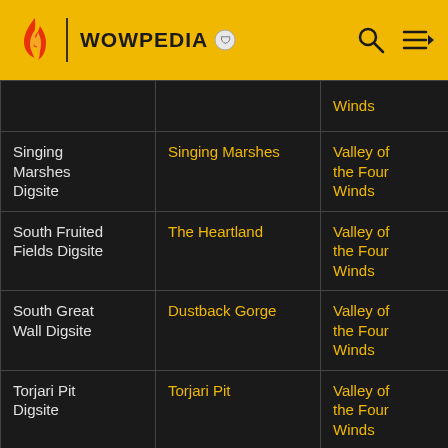WOWPEDIA
| Digsite | Location | Zone | Race |
| --- | --- | --- | --- |
|  |  | Winds |  |
| Singing Marshes Digsite | Singing Marshes | Valley of the Four Winds | Mogu |
| South Fruited Fields Digsite | The Heartland | Valley of the Four Winds | Pandaren |
| South Great Wall Digsite | Dustback Gorge | Valley of the Four Winds | Mogu |
| Torjari Pit Digsite | Torjari Pit | Valley of the Four Winds | Mogu |
| Fallsong Village | Fallsong Village | Krasarang Wilds | Mogu |